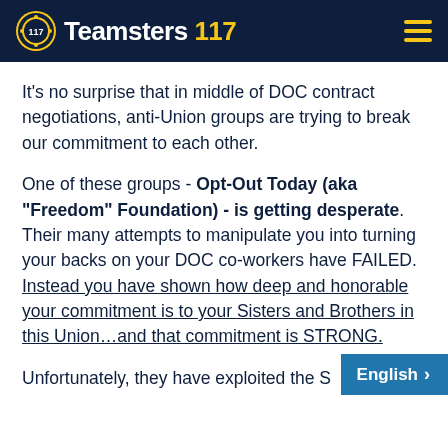Teamsters 117
It’s no surprise that in middle of DOC contract negotiations, anti-Union groups are trying to break our commitment to each other.
One of these groups - Opt-Out Today (aka “Freedom” Foundation) - is getting desperate. Their many attempts to manipulate you into turning your backs on your DOC co-workers have FAILED. Instead you have shown how deep and honorable your commitment is to your Sisters and Brothers in this Union…and that commitment is STRONG.
Unfortunately, they have exploited the S